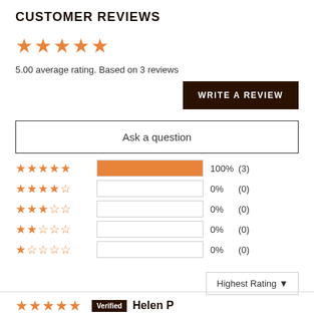CUSTOMER REVIEWS
[Figure (other): 5 orange filled stars rating display]
5.00 average rating. Based on 3 reviews
WRITE A REVIEW
Ask a question
[Figure (bar-chart): Rating breakdown]
Highest Rating ▼
Verified  Helen P